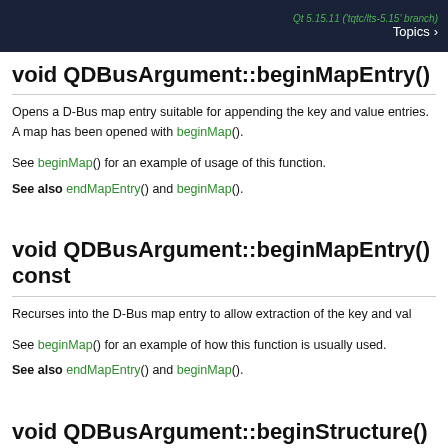Qt 5.15.11 ('tqtc/lts-5.15' branch)  Topics >
void QDBusArgument::beginMapEntry()
Opens a D-Bus map entry suitable for appending the key and value entries. A map has been opened with beginMap().
See beginMap() for an example of usage of this function.
See also endMapEntry() and beginMap().
void QDBusArgument::beginMapEntry() const
Recurses into the D-Bus map entry to allow extraction of the key and val...
See beginMap() for an example of how this function is usually used.
See also endMapEntry() and beginMap().
void QDBusArgument::beginStructure()